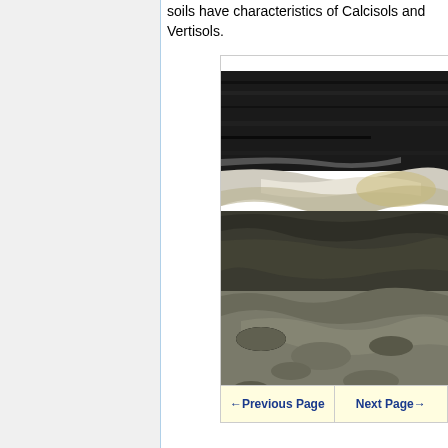soils have characteristics of Calcisols and Vertisols.
[Figure (photo): Close-up photograph of layered soil profile showing dark organic upper layers, white/light calcareous bands, and lower gray-brown rocky/stony lower horizons. Characteristic of soils with Calcisol and Vertisol properties.]
← Previous Page   Next Page →